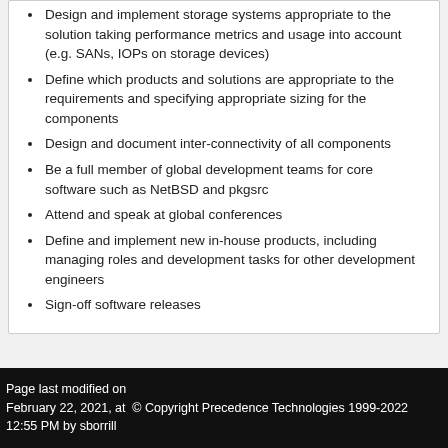Design and implement storage systems appropriate to the solution taking performance metrics and usage into account (e.g. SANs, IOPs on storage devices)
Define which products and solutions are appropriate to the requirements and specifying appropriate sizing for the components
Design and document inter-connectivity of all components
Be a full member of global development teams for core software such as NetBSD and pkgsrc
Attend and speak at global conferences
Define and implement new in-house products, including managing roles and development tasks for other development engineers
Sign-off software releases
Page last modified on February 22, 2021, at 12:55 PM by sborrill © Copyright Precedence Technologies 1999-2022